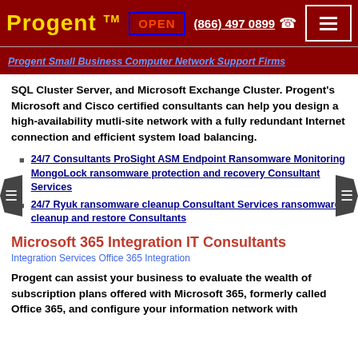Progent™ | OPEN | (866) 497 0899 | ☎
Progent Small Business Computer Network Support Firms
SQL Cluster Server, and Microsoft Exchange Cluster. Progent's Microsoft and Cisco certified consultants can help you design a high-availability mutli-site network with a fully redundant Internet connection and efficient system load balancing.
24/7 Consultants ProSight ASM Endpoint Ransomware Monitoring MongoLock ransomware protection and recovery Consultant Services
24/7 Ryuk ransomware cleanup Consultant Services ransomware cleanup and restore Consultants
Microsoft 365 Integration IT Consultants
Integration Services Office 365 Integration
Progent can assist your business to evaluate the wealth of subscription plans offered with Microsoft 365, formerly called Office 365, and configure your information network with